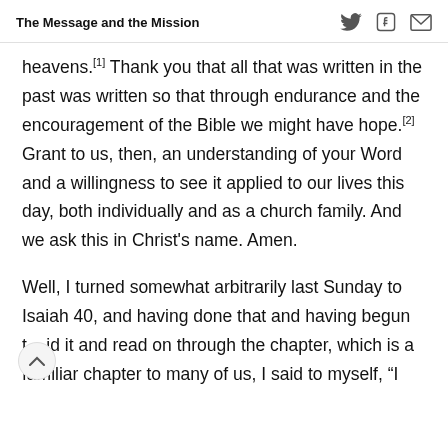The Message and the Mission
heavens.[1] Thank you that all that was written in the past was written so that through endurance and the encouragement of the Bible we might have hope.[2] Grant to us, then, an understanding of your Word and a willingness to see it applied to our lives this day, both individually and as a church family. And we ask this in Christ’s name. Amen.
Well, I turned somewhat arbitrarily last Sunday to Isaiah 40, and having done that and having begun t… id it and read on through the chapter, which is a familiar chapter to many of us, I said to myself, “I